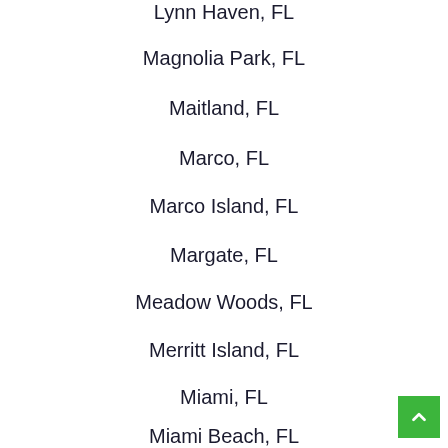Lynn Haven, FL
Magnolia Park, FL
Maitland, FL
Marco, FL
Marco Island, FL
Margate, FL
Meadow Woods, FL
Merritt Island, FL
Miami, FL
Miami Beach, FL